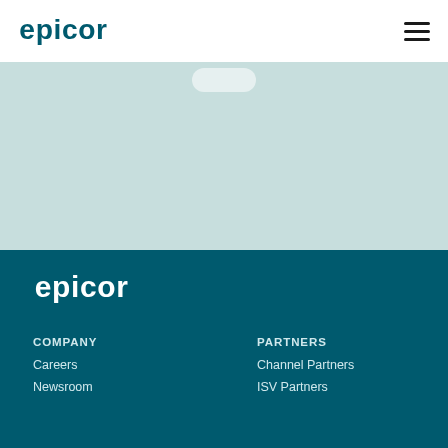Epicor logo and navigation header
[Figure (screenshot): Light teal/mint colored hero section with a small rounded button shape visible at top]
[Figure (logo): Epicor white logo in footer dark teal section]
COMPANY
Careers
Newsroom
PARTNERS
Channel Partners
ISV Partners